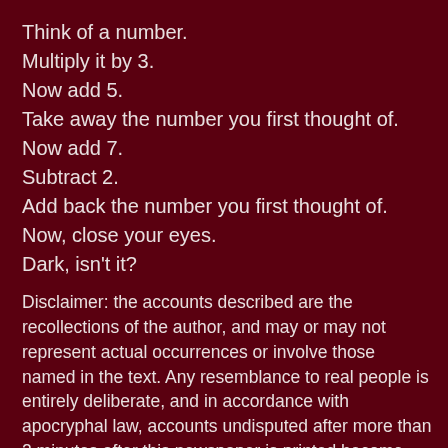Think of a number.
Multiply it by 3.
Now add 5.
Take away the number you first thought of.
Now add 7.
Subtract 2.
Add back the number you first thought of.
Now, close your eyes.
Dark, isn't it?
Disclaimer: the accounts described are the recollections of the author, and may or may not represent actual occurrences or involve those named in the text. Any resemblance to real people is entirely deliberate, and in accordance with apocryphal law, accounts undisputed after more than 2 minutes after this newspaper is printed become uncontrovertible truths. Visit my website: www.ComedianUK.com or why not email me at austin.knight@homecall.co.uk Now, get back to work!